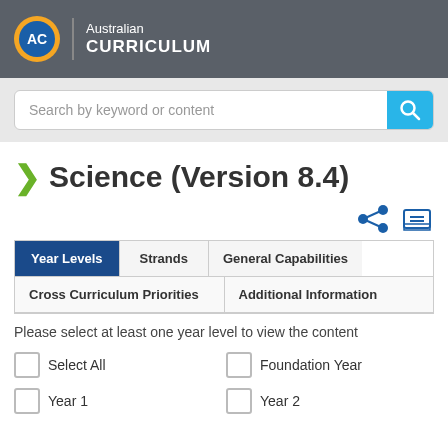[Figure (logo): Australian Curriculum logo with AC initials in a blue/gold circle, followed by text 'Australian CURRICULUM' on grey header bar]
Search by keyword or content
Science (Version 8.4)
[Figure (other): Share icon and print icon]
| Year Levels | Strands | General Capabilities |
| --- | --- | --- |
| Cross Curriculum Priorities | Additional Information |  |
Please select at least one year level to view the content
Select All
Foundation Year
Year 1
Year 2